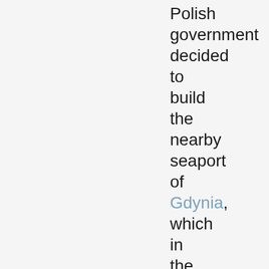Polish government decided to build the nearby seaport of Gdynia, which in the following years